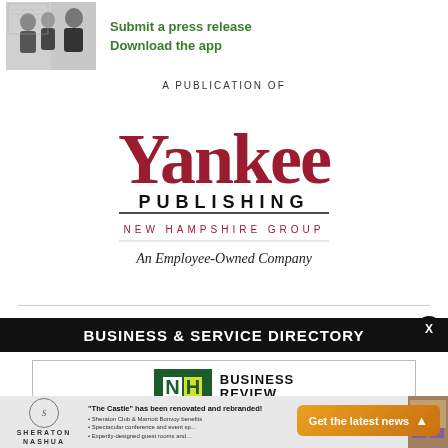[Figure (photo): Photo of people shaking hands, likely a business meeting or press release thumbnail]
Submit a press release
Download the app
A PUBLICATION OF
[Figure (logo): Yankee Publishing New Hampshire Group - An Employee-Owned Company logo in dark red/maroon]
BUSINESS & SERVICE DIRECTORY
[Figure (logo): NH Business Review logo with green and yellow NH block letters]
REAL ESTATE
[Figure (photo): Sheraton Nashua advertisement - The Castle has been renovated and rebranded!]
Get the latest news